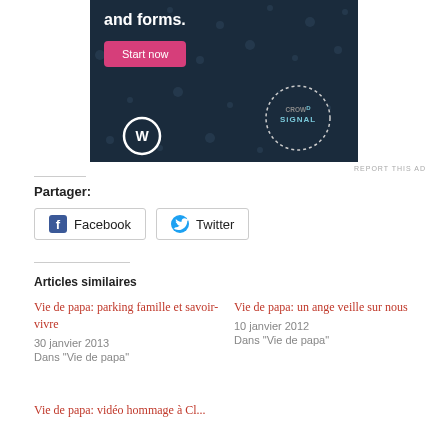[Figure (illustration): Dark navy blue advertisement banner for Crowdsignal/WordPress showing text 'and forms.' with a pink 'Start now' button, WordPress logo at bottom left, and Crowdsignal circular logo at bottom right, with dot pattern background.]
REPORT THIS AD
Partager:
Facebook
Twitter
Articles similaires
Vie de papa: parking famille et savoir-vivre
30 janvier 2013
Dans "Vie de papa"
Vie de papa: un ange veille sur nous
10 janvier 2012
Dans "Vie de papa"
Vie de papa: vidéo hommage à Cl...